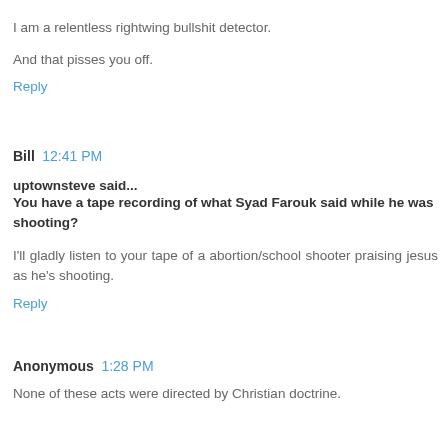I am a relentless rightwing bullshit detector.
And that pisses you off.
Reply
Bill  12:41 PM
uptownsteve said... You have a tape recording of what Syad Farouk said while he was shooting?
I'll gladly listen to your tape of a abortion/school shooter praising jesus as he's shooting.
Reply
Anonymous  1:28 PM
None of these acts were directed by Christian doctrine.